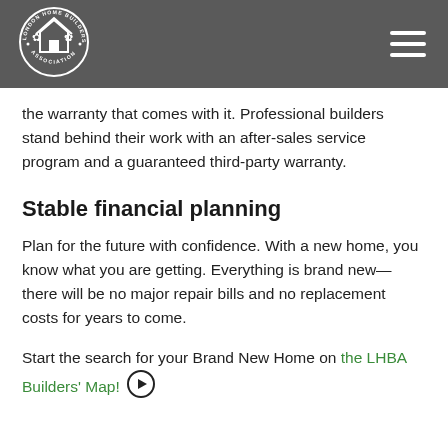[Figure (logo): London Home Builders' Association circular logo in white on dark grey header bar]
the warranty that comes with it. Professional builders stand behind their work with an after-sales service program and a guaranteed third-party warranty.
Stable financial planning
Plan for the future with confidence. With a new home, you know what you are getting. Everything is brand new—there will be no major repair bills and no replacement costs for years to come.
Start the search for your Brand New Home on the LHBA Builders' Map! →